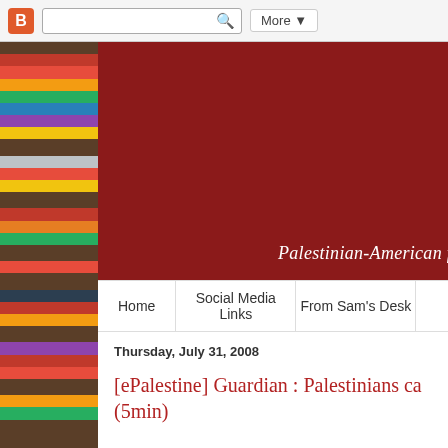Blogger navigation bar with search
[Figure (photo): Bookshelf with colorful books forming the left sidebar]
[Figure (screenshot): Dark red/maroon blog header banner]
Palestinian-American fro
Home | Social Media Links | From Sam's Desk
Thursday, July 31, 2008
[ePalestine] Guardian : Palestinians ca... (5min)
Dear friends,